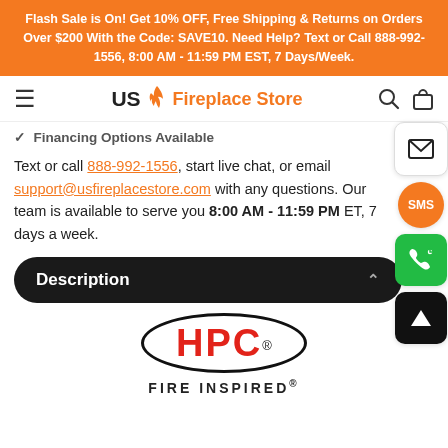Flash Sale is On! Get 10% OFF, Free Shipping & Returns on Orders Over $200 With the Code: SAVE10. Need Help? Text or Call 888-992-1556, 8:00 AM - 11:59 PM EST, 7 Days/Week.
[Figure (logo): US Fireplace Store logo with hamburger menu, search and cart icons in navigation bar]
✓ Financing Options Available
Text or call 888-992-1556, start live chat, or email support@usfireplacestore.com with any questions. Our team is available to serve you 8:00 AM - 11:59 PM ET, 7 days a week.
Description
[Figure (logo): HPC Fire Inspired logo with red HPC letters in black oval and FIRE INSPIRED tagline below]